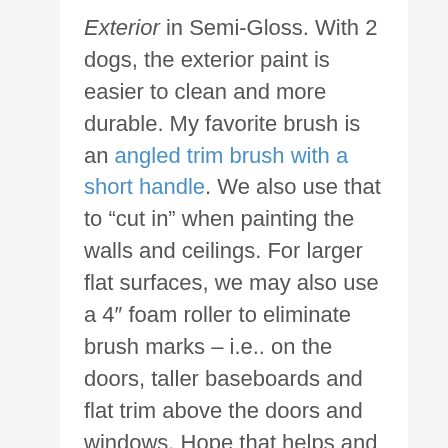Exterior in Semi-Gloss. With 2 dogs, the exterior paint is easier to clean and more durable. My favorite brush is an angled trim brush with a short handle. We also use that to “cut in” when painting the walls and ceilings. For larger flat surfaces, we may also use a 4″ foam roller to eliminate brush marks – i.e.. on the doors, taller baseboards and flat trim above the doors and windows. Hope that helps and let me know if you have any other questions!